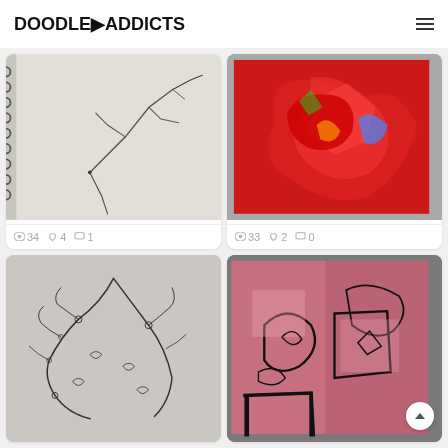DOODLE addicts
[Figure (photo): Sketch of branching abstract line drawing in a spiral notebook on a light gray background]
34  4  1
[Figure (photo): Red abstract acrylic painting on canvas propped against a gray wall]
33  2  0
[Figure (photo): Detailed black pen drawing of organic branching forms on gray paper]
[Figure (photo): Pink and black abstract acrylic painting on canvas against gray background]